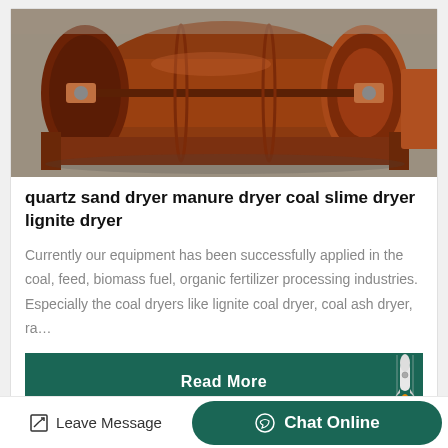[Figure (photo): Industrial rotary dryer machine, rust/orange colored metal drum and frame, photographed in a warehouse or yard setting.]
quartz sand dryer manure dryer coal slime dryer lignite dryer
Currently our equipment has been successfully applied in the coal, feed, biomass fuel, organic fertilizer processing industries. Especially the coal dryers like lignite coal dryer, coal ash dryer, ra…
Read More
[Figure (photo): Partial view of another industrial machine, light gray colored, partially visible at bottom of page.]
Leave Message
Chat Online